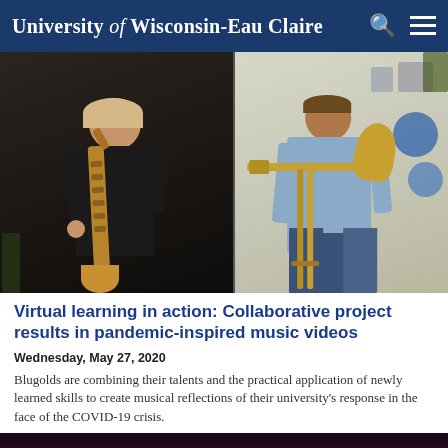University of Wisconsin-Eau Claire
[Figure (photo): Two musicians playing instruments via video: left panel shows a woman playing a saxophone in a dark setting, right panel shows a man playing a trombone in a lighter home setting.]
Virtual learning in action: Collaborative project results in pandemic-inspired music videos
Wednesday, May 27, 2020
Blugolds are combining their talents and the practical application of newly learned skills to create musical reflections of their university's response in the face of the COVID-19 crisis.
[Figure (screenshot): Bottom portion of a dark-colored video thumbnail, appears to show a dark red/purple stage curtain.]